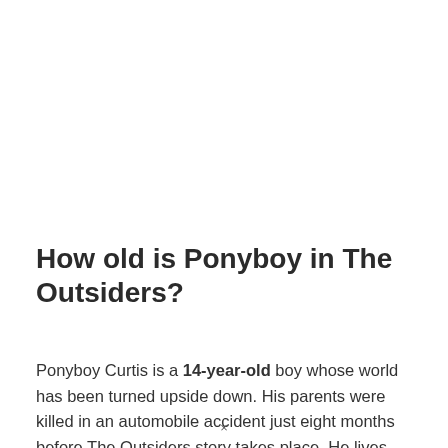How old is Ponyboy in The Outsiders?
Ponyboy Curtis is a 14-year-old boy whose world has been turned upside down. His parents were killed in an automobile accident just eight months before The Outsiders story takes place. He lives
×